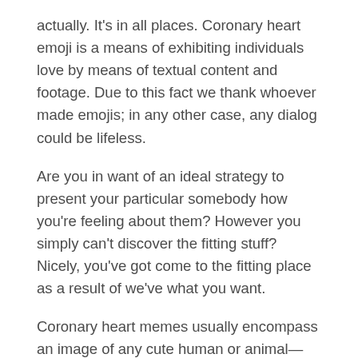actually. It's in all places. Coronary heart emoji is a means of exhibiting individuals love by means of textual content and footage. Due to this fact we thank whoever made emojis; in any other case, any dialog could be lifeless.
Are you in want of an ideal strategy to present your particular somebody how you're feeling about them? However you simply can't discover the fitting stuff? Nicely, you've got come to the fitting place as a result of we've what you want.
Coronary heart memes usually encompass an image of any cute human or animal—and virtually masking the whole factor with solely coronary heart emojis to make it extra lovable.
So now let's have a look at a few of the cutest coronary heart memes on the web.